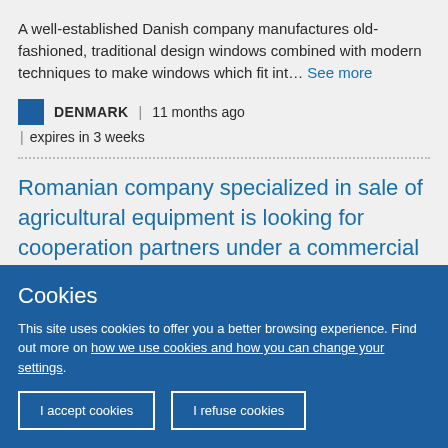A well-established Danish company manufactures old-fashioned, traditional design windows combined with modern techniques to make windows which fit int… See more
DENMARK | 11 months ago | expires in 3 weeks
Romanian company specialized in sale of agricultural equipment is looking for cooperation partners under a commercial agency
Cookies
This site uses cookies to offer you a better browsing experience. Find out more on how we use cookies and how you can change your settings.